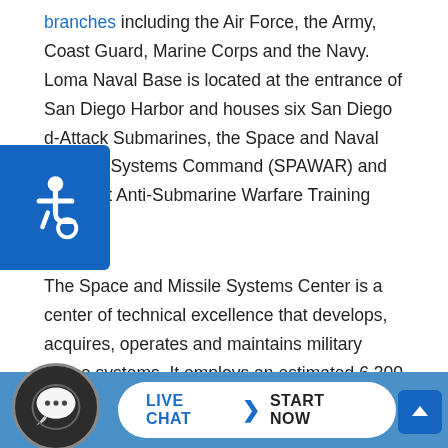branches including the Air Force, the Army, Coast Guard, Marine Corps and the Navy. Loma Naval Base is located at the entrance of San Diego Harbor and houses six San Diego d-Attack Submarines, the Space and Naval Warfare Systems Command (SPAWAR) and the Fleet Anti-Submarine Warfare Training Center.
The Space and Missile Systems Center is a center of technical excellence that develops, acquires, operates and maintains military space systems. It employs an estimated 6,300 people, including civilian and military contractors, at Edwards Air Force Base and at other sites. The Air Force Space Command missile defense headquarters is located at Los Angeles Air Force Base and the base houses about 15,000 officers, veterans...